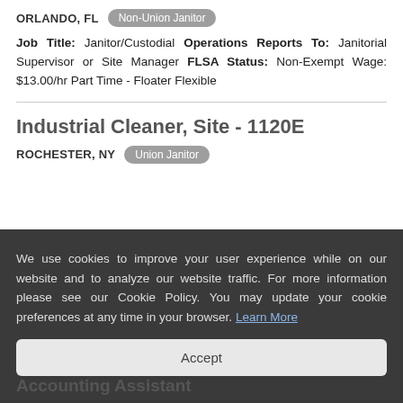ORLANDO, FL   Non-Union Janitor
Job Title: Janitor/Custodial Operations Reports To: Janitorial Supervisor or Site Manager FLSA Status: Non-Exempt Wage: $13.00/hr Part Time - Floater Flexible
Industrial Cleaner, Site - 1120E
ROCHESTER, NY   Union Janitor
We use cookies to improve your user experience while on our website and to analyze our website traffic. For more information please see our Cookie Policy. You may update your cookie preferences at any time in your browser. Learn More
Accept
Accounting Assistant